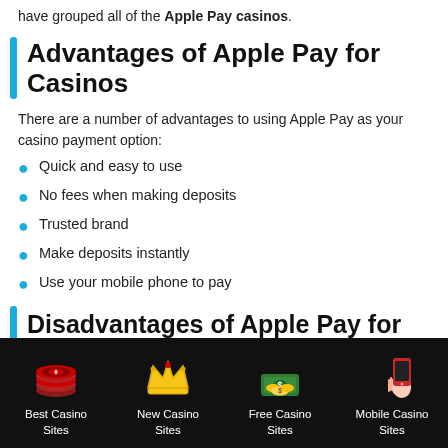have grouped all of the Apple Pay casinos.
Advantages of Apple Pay for Casinos
There are a number of advantages to using Apple Pay as your casino payment option:
Quick and easy to use
No fees when making deposits
Trusted brand
Make deposits instantly
Use your mobile phone to pay
Disadvantages of Apple Pay for
Best Casino Sites | New Casino Sites | Free Casino Sites | Mobile Casino Sites